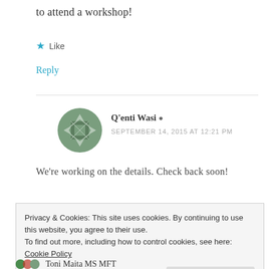to attend a workshop!
★ Like
Reply
Q'enti Wasi ▲
SEPTEMBER 14, 2015 AT 12:21 PM
We're working on the details. Check back soon!
Privacy & Cookies: This site uses cookies. By continuing to use this website, you agree to their use.
To find out more, including how to control cookies, see here: Cookie Policy
Close and accept
Toni Maita MS MFT